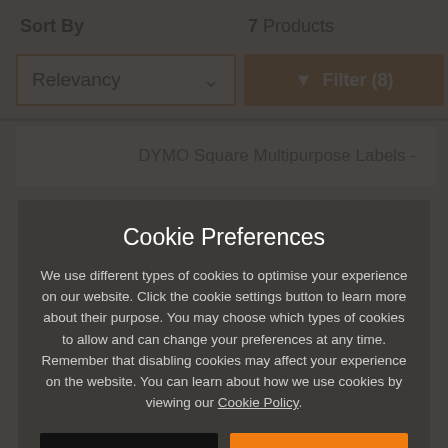Sort By
7 Products
Relevancy
Filter (8)
DYMO Square Multipurpose Labels -
Cookie Preferences
We use different types of cookies to optimise your experience on our website. Click the cookie settings button to learn more about their purpose. You may choose which types of cookies to allow and can change your preferences at any time. Remember that disabling cookies may affect your experience on the website. You can learn about how we use cookies by viewing our Cookie Policy.
Amend Your Preference
Accept All Cookies